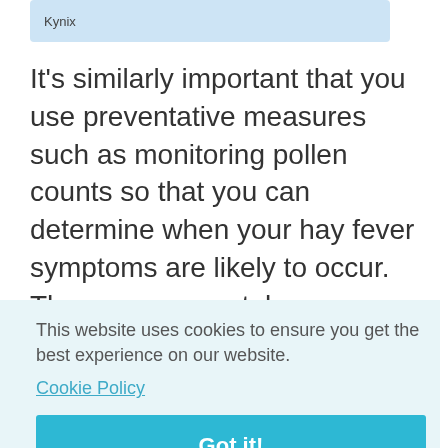[Figure (other): Blue banner/ad strip with text 'Kynix']
It's similarly important that you use preventative measures such as monitoring pollen counts so that you can determine when your hay fever symptoms are likely to occur. The more accurately you can predict when symptoms will strike, the better your chances of taking anti-inflammatory treatments to prevent
This website uses cookies to ensure you get the best experience on our website.
Cookie Policy
Got it!
about
s can
include headaches and nosebleeds, which are